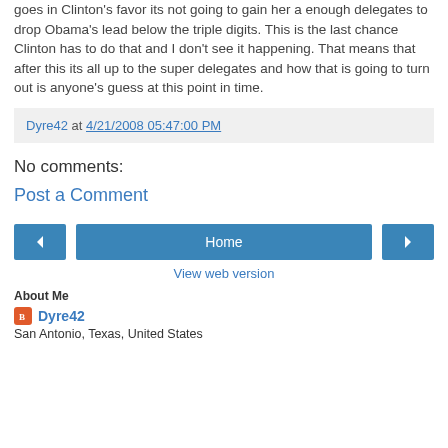goes in Clinton's favor its not going to gain her a enough delegates to drop Obama's lead below the triple digits. This is the last chance Clinton has to do that and I don't see it happening. That means that after this its all up to the super delegates and how that is going to turn out is anyone's guess at this point in time.
Dyre42 at 4/21/2008 05:47:00 PM
No comments:
Post a Comment
[Figure (other): Navigation buttons: left arrow, Home, right arrow]
View web version
About Me
Dyre42
San Antonio, Texas, United States